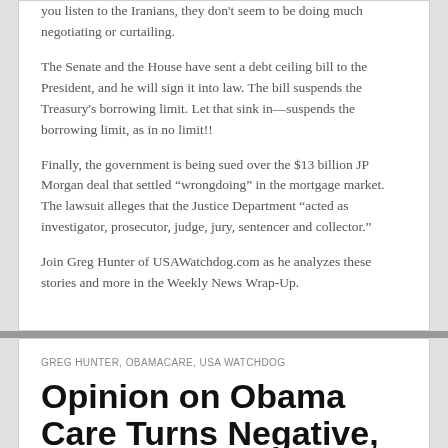you listen to the Iranians, they don't seem to be doing much negotiating or curtailing.
The Senate and the House have sent a debt ceiling bill to the President, and he will sign it into law. The bill suspends the Treasury's borrowing limit. Let that sink in—suspends the borrowing limit, as in no limit!!
Finally, the government is being sued over the $13 billion JP Morgan deal that settled "wrongdoing" in the mortgage market. The lawsuit alleges that the Justice Department "acted as investigator, prosecutor, judge, jury, sentencer and collector."
Join Greg Hunter of USAWatchdog.com as he analyzes these stories and more in the Weekly News Wrap-Up.
GREG HUNTER, OBAMACARE, USA WATCHDOG
Opinion on Obama Care Turns Negative, NYT